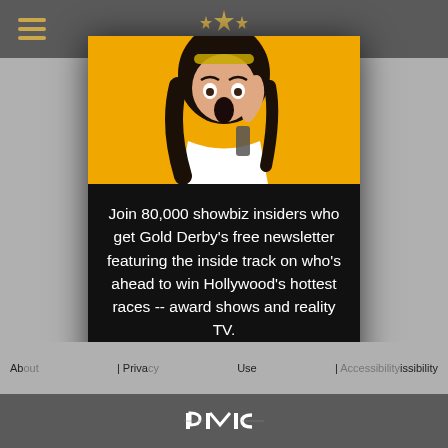[Figure (screenshot): Website header with hamburger menu icon and Gold Derby logo stars on dark gray background]
[Figure (photo): Woman with long dark hair looking shocked at her phone against an orange/yellow background, wearing sunglasses on head and white shirt]
Join 80,000 showbiz insiders who get Gold Derby's free newsletter featuring the inside track on who's ahead to win Hollywood's hottest races -- award shows and reality TV.
GET PREDICTIONS
No thanks
About | Privacy | Use Accessibility
[Figure (logo): PMC logo in white at the bottom of the page]